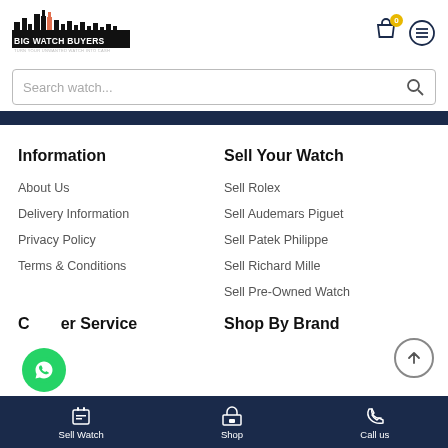[Figure (logo): Big Watch Buyers logo with city skyline silhouette]
Search watch...
Information
Sell Your Watch
About Us
Sell Rolex
Delivery Information
Sell Audemars Piguet
Privacy Policy
Sell Patek Philippe
Terms & Conditions
Sell Richard Mille
Sell Pre-Owned Watch
Customer Service
Shop By Brand
Sell Watch | Shop | Call us